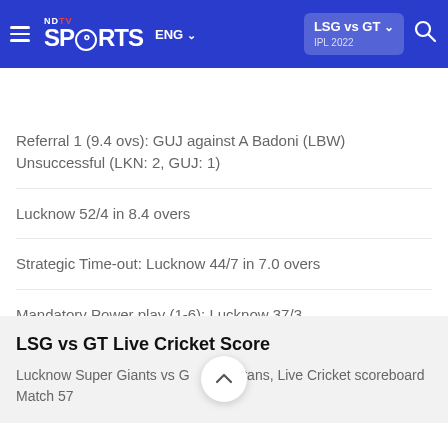NDTV Sports — LSG vs GT IPL 2022 — ENG
CRICKET | Scores | Series | Fixtures | Results | News
Referral 1 (9.4 ovs): GUJ against A Badoni (LBW)
Unsuccessful (LKN: 2, GUJ: 1)
Lucknow 52/4 in 8.4 overs
Strategic Time-out: Lucknow 44/7 in 7.0 overs
Mandatory Power play (1-6): Lucknow 37/3
LSG vs GT Live Cricket Score
Lucknow Super Giants vs Gujarat Titans, Live Cricket scoreboard Match 57